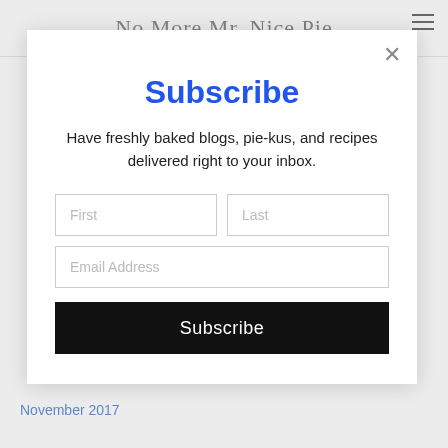No More Mr. Nice Pie
Subscribe
Have freshly baked blogs, pie-kus, and recipes delivered right to your inbox.
First
Last
Email Address
Subscribe
November 2017